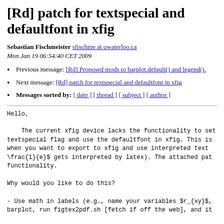[Rd] patch for textspecial and defaultfont in xfig
Sebastian Fischmeister sfischme at uwaterloo.ca
Mon Jan 19 06:54:40 CET 2009
Previous message: [Rd] Proposed mods to barplot.default() and legend().
Next message: [Rd] patch for textspecial and defaultfont in xfig
Messages sorted by: [ date ] [ thread ] [ subject ] [ author ]
Hello,

    The current xfig device lacks the functionality to set the textspecial flag and use the defaultfont in xfig. This is helpful when you want to export to xfig and use interpreted text (e.g., \frac{1}{e}$ gets interpreted by latex). The attached patch adds this functionality.
Why would you like to do this?
- Use math in labels (e.g., name your variables $r_{xy}$, barplot, run figtex2pdf.sh [fetch if off the web], and it